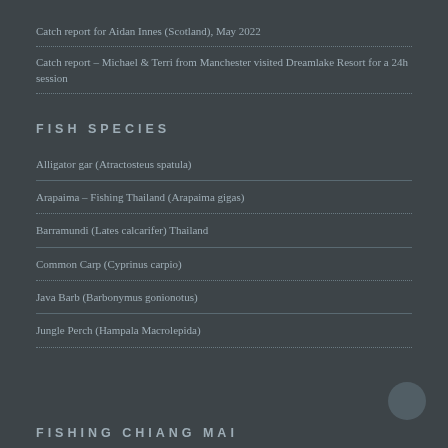Catch report for Aidan Innes (Scotland), May 2022
Catch report – Michael & Terri from Manchester visited Dreamlake Resort for a 24h session
FISH SPECIES
Alligator gar (Atractosteus spatula)
Arapaima – Fishing Thailand (Arapaima gigas)
Barramundi (Lates calcarifer) Thailand
Common Carp (Cyprinus carpio)
Java Barb (Barbonymus gonionotus)
Jungle Perch (Hampala Macrolepida)
FISHING CHIANG MAI